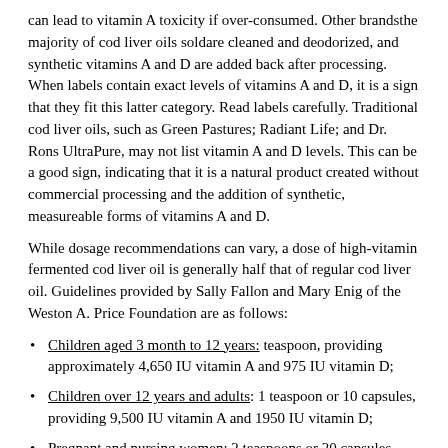can lead to vitamin A toxicity if over-consumed. Other brandsthe majority of cod liver oils soldare cleaned and deodorized, and synthetic vitamins A and D are added back after processing. When labels contain exact levels of vitamins A and D, it is a sign that they fit this latter category. Read labels carefully. Traditional cod liver oils, such as Green Pastures; Radiant Life; and Dr. Rons UltraPure, may not list vitamin A and D levels. This can be a good sign, indicating that it is a natural product created without commercial processing and the addition of synthetic, measureable forms of vitamins A and D.
While dosage recommendations can vary, a dose of high-vitamin fermented cod liver oil is generally half that of regular cod liver oil. Guidelines provided by Sally Fallon and Mary Enig of the Weston A. Price Foundation are as follows:
Children aged 3 month to 12 years: teaspoon, providing approximately 4,650 IU vitamin A and 975 IU vitamin D;
Children over 12 years and adults: 1 teaspoon or 10 capsules, providing 9,500 IU vitamin A and 1950 IU vitamin D;
Pregnant and nursing women: 2 teaspoons or 20 capsules, providing 19,000 IU of vitamin A and 3900 IU vitamin D.link
All cod liver oils in the United States are tested for contaminants like